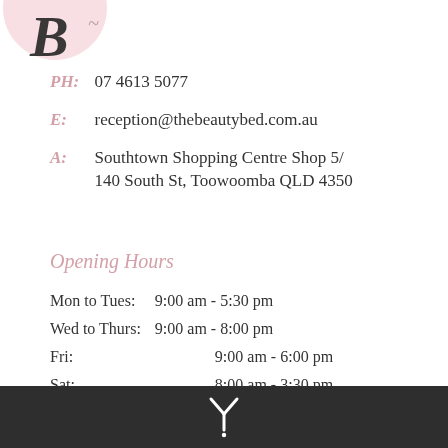[Figure (logo): Partial pink circle logo with cursive letter B at top left corner]
PH:  07 4613 5077
E:   reception@thebeautybed.com.au
A:  Southtown Shopping Centre Shop 5/ 140 South St, Toowoomba QLD 4350
Opening Hours
Mon to Tues:   9:00 am - 5:30 pm
Wed to Thurs:  9:00 am - 8:00 pm
Fri:           9:00 am - 6:00 pm
Sat:           8:00 am - 3:30 pm
[Figure (logo): White tuning fork or Y-shaped icon on dark grey footer bar]